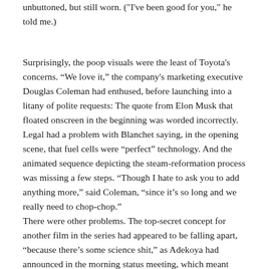unbuttoned, but still worn. ("I've been good for you," he told me.)
Surprisingly, the poop visuals were the least of Toyota's concerns. “We love it,” the company's marketing executive Douglas Coleman had enthused, before launching into a litany of polite requests: The quote from Elon Musk that floated onscreen in the beginning was worded incorrectly. Legal had a problem with Blanchet saying, in the opening scene, that fuel cells were “perfect” technology. And the animated sequence depicting the steam-reformation process was missing a few steps. “Though I hate to ask you to add anything more,” said Coleman, “since it’s so long and we really need to chop-chop.”
There were other problems. The top-secret concept for another film in the series had appeared to be falling apart, “because there’s some science shit,” as Adekoya had announced in the morning status meeting, which meant they had to come up with a whole new idea.